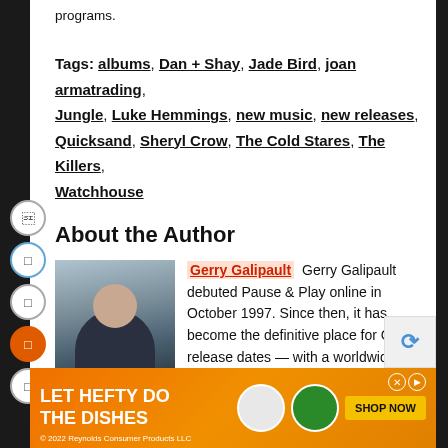programs.
Tags: albums, Dan + Shay, Jade Bird, joan armatrading, Jungle, Luke Hemmings, new music, new releases, Quicksand, Sheryl Crow, The Cold Stares, The Killers, Watchhouse
About the Author
[Figure (photo): Photo of author Gerry Galipault sitting outdoors near water]
Gerry Galipault Gerry Galipault debuted Pause & Play online in October 1997. Since then, it has become the definitive place for CD-release dates — with a worldwide audience.
Related Posts
[Figure (infographic): Advertisement banner: LET HEFTY DO THE DISHES - Shop Now button with dish soap product images. © 2022 Reynolds Consumer Products LLC]